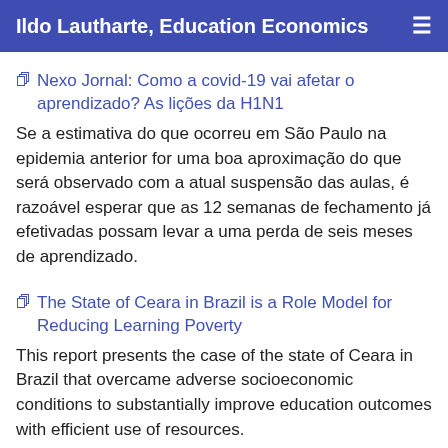Ildo Lautharte, Education Economics
Nexo Jornal: Como a covid-19 vai afetar o aprendizado? As lições da H1N1
Se a estimativa do que ocorreu em São Paulo na epidemia anterior for uma boa aproximação do que será observado com a atual suspensão das aulas, é razoável esperar que as 12 semanas de fechamento já efetivadas possam levar a uma perda de seis meses de aprendizado.
The State of Ceara in Brazil is a Role Model for Reducing Learning Poverty
This report presents the case of the state of Ceara in Brazil that overcame adverse socioeconomic conditions to substantially improve education outcomes with efficient use of resources.